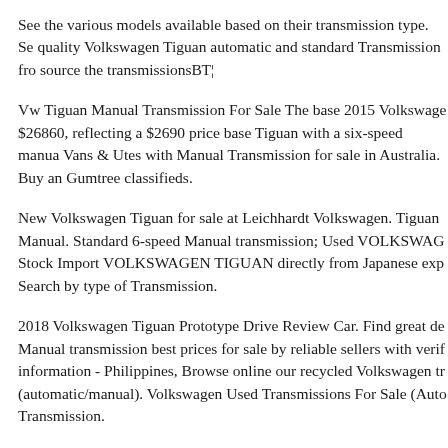See the various models available based on their transmission type. Se quality Volkswagen Tiguan automatic and standard Transmission fro source the transmissionsВТ¦
Vw Tiguan Manual Transmission For Sale The base 2015 Volkswage $26860, reflecting a $2690 price base Tiguan with a six-speed manua Vans & Utes with Manual Transmission for sale in Australia. Buy an Gumtree classifieds.
New Volkswagen Tiguan for sale at Leichhardt Volkswagen. Tiguan Manual. Standard 6-speed Manual transmission; Used VOLKSWAG Stock Import VOLKSWAGEN TIGUAN directly from Japanese exp Search by type of Transmission.
2018 Volkswagen Tiguan Prototype Drive Review Car. Find great de Manual transmission best prices for sale by reliable sellers with verif information - Philippines, Browse online our recycled Volkswagen tr (automatic/manual). Volkswagen Used Transmissions For Sale (Auto Transmission.